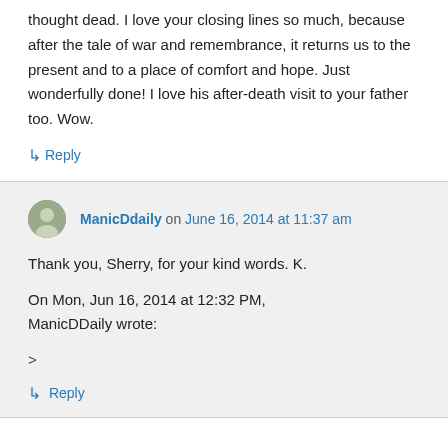thought dead. I love your closing lines so much, because after the tale of war and remembrance, it returns us to the present and to a place of comfort and hope. Just wonderfully done! I love his after-death visit to your father too. Wow.
↳ Reply
ManicDdaily on June 16, 2014 at 11:37 am
Thank you, Sherry, for your kind words. K.
On Mon, Jun 16, 2014 at 12:32 PM, ManicDDaily wrote:
>
↳ Reply